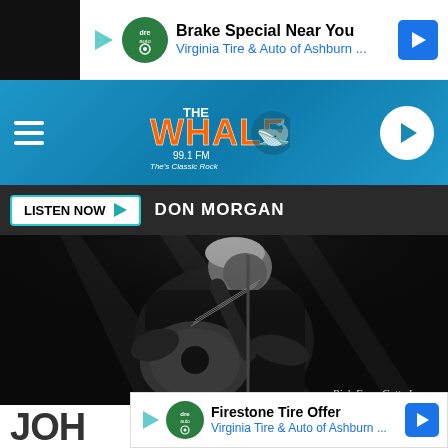[Figure (screenshot): Top advertisement banner: play button icon, Dre auto logo, 'Brake Special Near You' ad title, 'Virginia Tire & Auto of Ashburn ...' subtitle, navigation arrow icon]
[Figure (logo): The Whale 99.1 FM - The Classic Rock radio station logo with mascot character]
LISTEN NOW  DON MORGAN
[Figure (photo): Black and white photo of a man playing acoustic guitar on stage, looking down at the instrument. Photo credit: Rich Fury, Getty Images]
Rich Fury, Getty Images
[Figure (screenshot): Bottom advertisement banner: play button icon, Dre auto logo, 'Firestone Tire Offer' ad title, 'Virginia Tire & Auto of Ashburn ...' subtitle, navigation arrow icon]
JOH